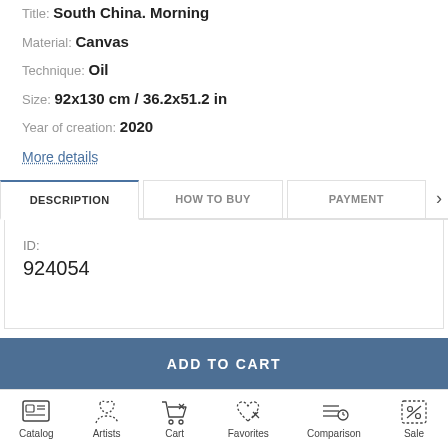Title: South China. Morning
Material: Canvas
Technique: Oil
Size: 92x130 cm / 36.2x51.2 in
Year of creation: 2020
More details
DESCRIPTION
HOW TO BUY
PAYMENT
ID:
924054
ADD TO CART
Catalog  Artists  Cart  Favorites  Comparison  Sale